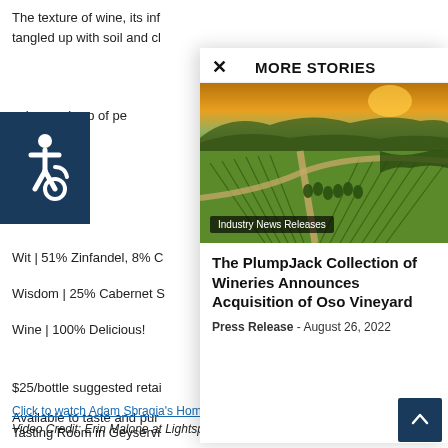The texture of wine, its inf tangled up with soil and cl cular mash-up of pe ay life.
[Figure (logo): Accessibility icon - wheelchair symbol in white on dark navy background]
Wit | 51% Zinfandel, 8% C
Wisdom | 25% Cabernet S
Wine | 100% Delicious!
$25/bottle suggested retai
Available to taste and pur Tasting Room in Geyservi
Click to watch Adam Sbragia's Home Field Red video.
Video Credit: Erin Malone at Lightspeed Films
MORE STORIES
[Figure (photo): Aerial view of vineyard with rows of grapevines, winding roads, a small lake, and hills with sunset in background. Label: Industry News Releases]
The PlumpJack Collection of Wineries Announces Acquisition of Oso Vineyard
Press Release - August 26, 2022